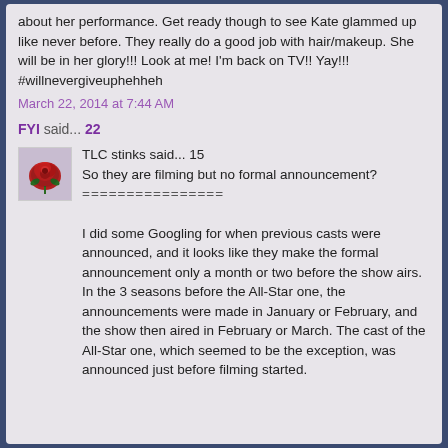about her performance. Get ready though to see Kate glammed up like never before. They really do a good job with hair/makeup. She will be in her glory!!! Look at me! I'm back on TV!! Yay!!! #willnevergiveuphehheh
March 22, 2014 at 7:44 AM
FYI said... 22
[Figure (photo): Red rose avatar image]
TLC stinks said... 15
So they are filming but no formal announcement?
================

I did some Googling for when previous casts were announced, and it looks like they make the formal announcement only a month or two before the show airs. In the 3 seasons before the All-Star one, the announcements were made in January or February, and the show then aired in February or March. The cast of the All-Star one, which seemed to be the exception, was announced just before filming started.